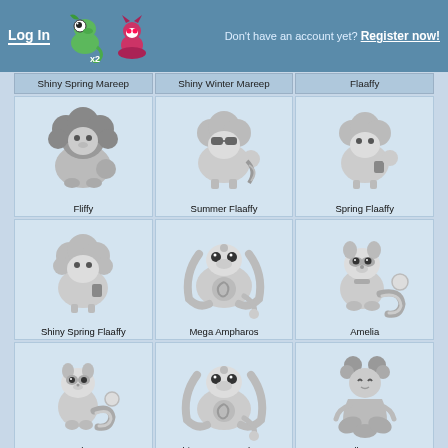Log In | Don't have an account yet? Register now!
Shiny Spring Mareep | Shiny Winter Mareep | Flaaffy
[Figure (illustration): Fliffy - grayscale creature illustration]
Fliffy
[Figure (illustration): Summer Flaaffy - grayscale creature illustration]
Summer Flaaffy
[Figure (illustration): Spring Flaaffy - grayscale creature illustration]
Spring Flaaffy
[Figure (illustration): Shiny Spring Flaaffy - grayscale creature illustration]
Shiny Spring Flaaffy
[Figure (illustration): Mega Ampharos - grayscale creature illustration]
Mega Ampharos
[Figure (illustration): Amelia - grayscale creature illustration]
Amelia
[Figure (illustration): Ampharos - grayscale creature illustration]
Ampharos
[Figure (illustration): Shiny Mega Ampharos - grayscale creature illustration]
Shiny Mega Ampharos
[Figure (illustration): Bellossom - grayscale creature illustration]
Bellossom